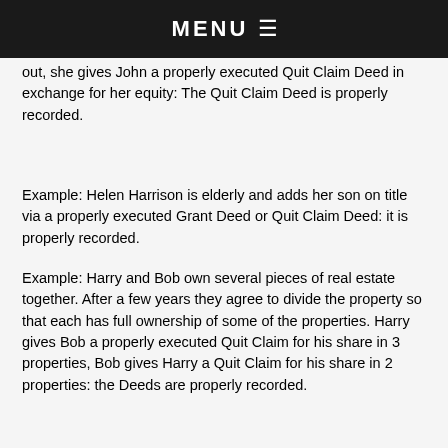MENU ≡
Example: ...to ge... out, she gives John a properly executed Quit Claim Deed in exchange for her equity: The Quit Claim Deed is properly recorded.
Example: Helen Harrison is elderly and adds her son on title via a properly executed Grant Deed or Quit Claim Deed: it is properly recorded.
Example: Harry and Bob own several pieces of real estate together. After a few years they agree to divide the property so that each has full ownership of some of the properties. Harry gives Bob a properly executed Quit Claim for his share in 3 properties, Bob gives Harry a Quit Claim for his share in 2 properties: the Deeds are properly recorded.
Example: a brother and sister inherit a house, a year later the sister Quit Claims the property to her brother for $50,000.
Here comes the problem: 5 years elapsed and the property owner sells or refinances the property. The Title insurance company finds the UNINSURED DEED; the title company is now being asked to insure 2 transfers, i.e. the one 5 years ago and the sale or refinance today. The title company will insist on an affidavit from the person who did the transfer 5 years ago and a Statement of Identity. The S. I. is used to verify that Mary Smith (example 1) had no judgements, child support payments